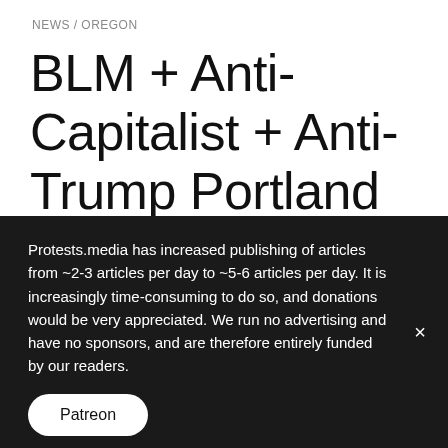NEWS / OREGON
BLM + Anti-Capitalist + Anti-Trump Portland Protest Day 141
by Protests.media  |  Published November 3, 2020
Protests.media has increased publishing of articles from ~2-3 articles per day to ~5-6 articles per day. It is increasingly time-consuming to do so, and donations would be very appreciated. We run no advertising and have no sponsors, and are therefore entirely funded by our readers.
Patreon